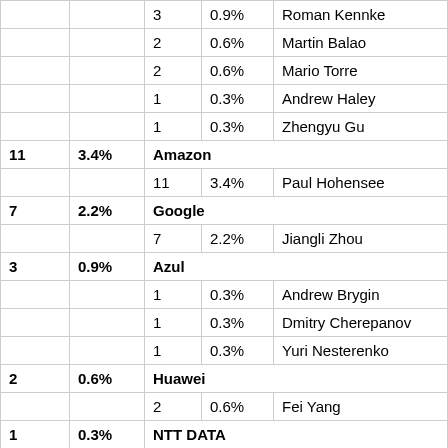|  |  |  |  |  |
| --- | --- | --- | --- | --- |
|  |  | 3 | 0.9% | Roman Kennke |
|  |  | 2 | 0.6% | Martin Balao |
|  |  | 2 | 0.6% | Mario Torre |
|  |  | 1 | 0.3% | Andrew Haley |
|  |  | 1 | 0.3% | Zhengyu Gu |
| 11 | 3.4% | Amazon |  |  |
|  |  | 11 | 3.4% | Paul Hohensee |
| 7 | 2.2% | Google |  |  |
|  |  | 7 | 2.2% | Jiangli Zhou |
| 3 | 0.9% | Azul |  |  |
|  |  | 1 | 0.3% | Andrew Brygin |
|  |  | 1 | 0.3% | Dmitry Cherepanov |
|  |  | 1 | 0.3% | Yuri Nesterenko |
| 2 | 0.6% | Huawei |  |  |
|  |  | 2 | 0.6% | Fei Yang |
| 1 | 0.3% | NTT DATA |  |  |